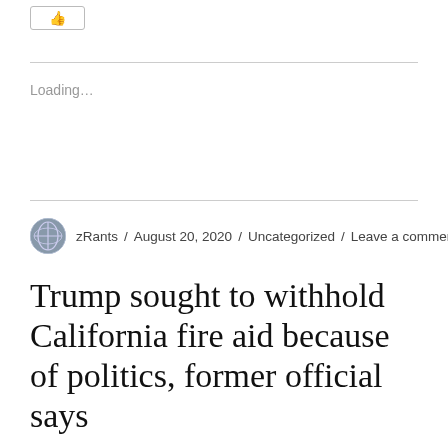[Figure (other): Small button/widget with a thumbs-up or like icon, bordered box]
Loading…
zRants / August 20, 2020 / Uncategorized / Leave a comment
Trump sought to withhold California fire aid because of politics, former official says
By Noah Bierman and Eli Stokols, Los Angeles Times : latimes – excerpt